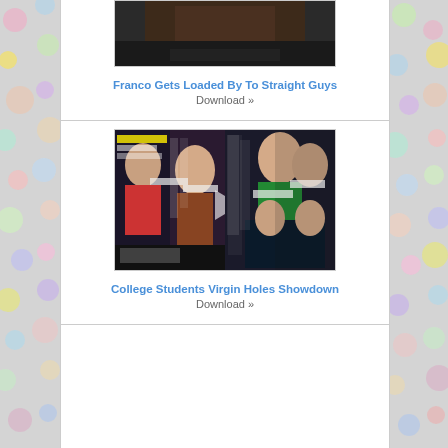[Figure (photo): Thumbnail image cropped at top, dark skin tones, adult content thumbnail]
Franco Gets Loaded By To Straight Guys
Download »
[Figure (photo): Japanese adult video cover collage, multiple panels with Japanese text, faces obscured]
College Students Virgin Holes Showdown
Download »